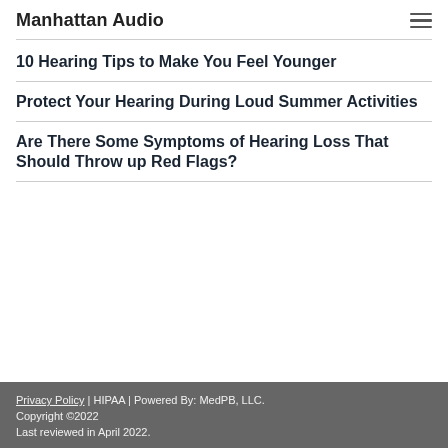Manhattan Audio
10 Hearing Tips to Make You Feel Younger
Protect Your Hearing During Loud Summer Activities
Are There Some Symptoms of Hearing Loss That Should Throw up Red Flags?
Privacy Policy | HIPAA | Powered By: MedPB, LLC. Copyright ©2022 Last reviewed in April 2022.